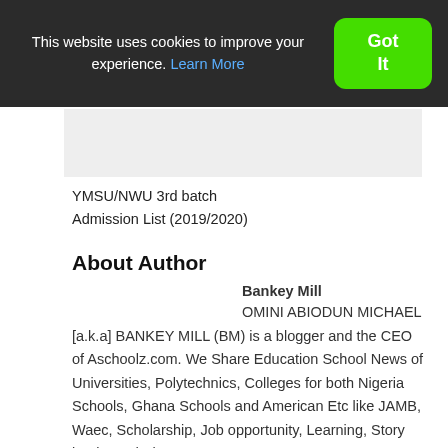This website uses cookies to improve your experience. Learn More
Got It
[Figure (other): Gray image placeholder block]
YMSU/NWU 3rd batch Admission List (2019/2020)
About Author
Bankey Mill
OMINI ABIODUN MICHAEL [a.k.a] BANKEY MILL (BM) is a blogger and the CEO of Aschoolz.com. We Share Education School News of Universities, Polytechnics, Colleges for both Nigeria Schools, Ghana Schools and American Etc like JAMB, Waec, Scholarship, Job opportunity, Learning, Story books and Blog etc